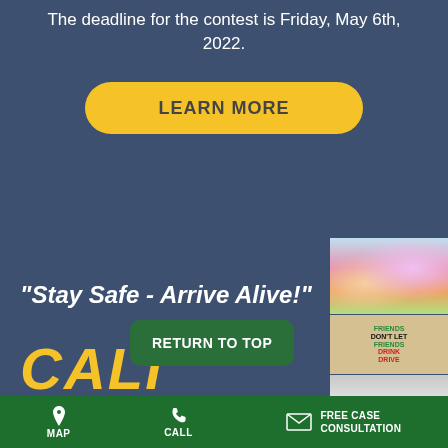The deadline for the contest is Friday, May 6th, 2022.
LEARN MORE
[Figure (illustration): Three stacked contest artwork images on the right side: colorful illustrated artwork at top, a 'Friends Don't Let Friends Drink and Drive' poster in middle, and a sketch illustration at bottom.]
“Stay Safe - Arrive Alive!”
RETURN TO TOP
CALI
MAP   CALL   FREE CASE CONSULTATION